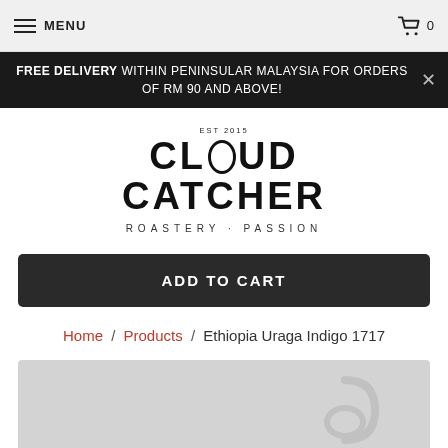MENU  |  cart 0
FREE DELIVERY WITHIN PENINSULAR MALAYSIA FOR ORDERS OF RM 90 AND ABOVE!
[Figure (logo): Cloud Catcher Roastery Passion logo with EST 2015 text]
ADD TO CART
Home / Products / Ethiopia Uraga Indigo 1717
[Figure (photo): Product image placeholder with grey background and partial logo watermark]